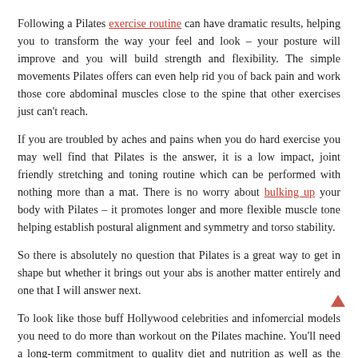Following a Pilates exercise routine can have dramatic results, helping you to transform the way your feel and look – your posture will improve and you will build strength and flexibility. The simple movements Pilates offers can even help rid you of back pain and work those core abdominal muscles close to the spine that other exercises just can't reach.
If you are troubled by aches and pains when you do hard exercise you may well find that Pilates is the answer, it is a low impact, joint friendly stretching and toning routine which can be performed with nothing more than a mat. There is no worry about bulking up your body with Pilates – it promotes longer and more flexible muscle tone helping establish postural alignment and symmetry and torso stability.
So there is absolutely no question that Pilates is a great way to get in shape but whether it brings out your abs is another matter entirely and one that I will answer next.
To look like those buff Hollywood celebrities and infomercial models you need to do more than workout on the Pilates machine. You'll need a long-term commitment to quality diet and nutrition as well as the determination to train hard regularly using both strength and cardio workouts. Trust me,